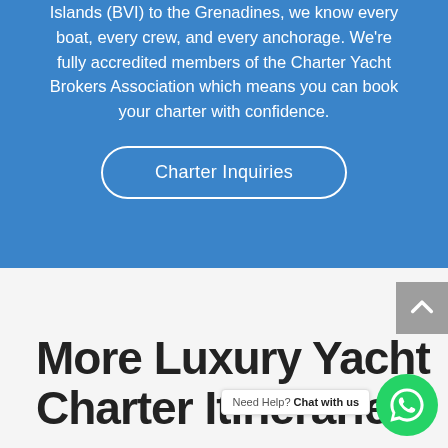Islands (BVI) to the Grenadines, we know every boat, every crew, and every anchorage. We're fully accredited members of the Charter Yacht Brokers Association which means you can book your charter with confidence.
Charter Inquiries
More Luxury Yacht Charter Itineraries